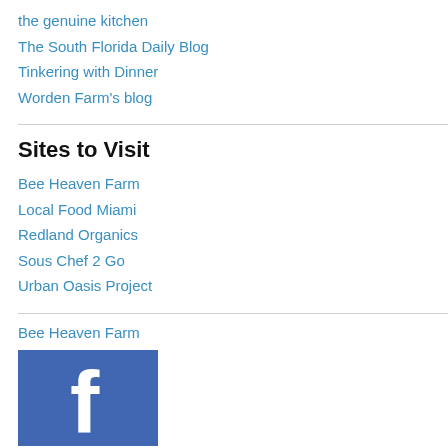the genuine kitchen
The South Florida Daily Blog
Tinkering with Dinner
Worden Farm's blog
Sites to Visit
Bee Heaven Farm
Local Food Miami
Redland Organics
Sous Chef 2 Go
Urban Oasis Project
Bee Heaven Farm
[Figure (logo): Facebook logo widget — blue square with white 'f' letterform]